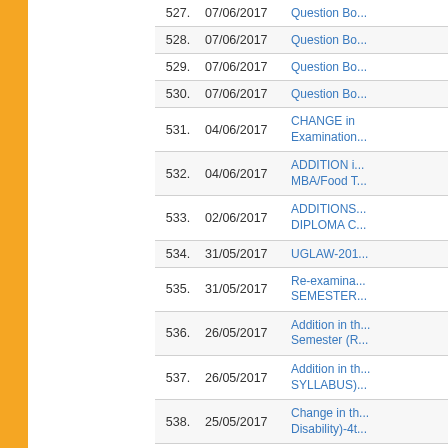| No. | Date | Title |
| --- | --- | --- |
| 527. | 07/06/2017 | Question Bo... |
| 528. | 07/06/2017 | Question Bo... |
| 529. | 07/06/2017 | Question Bo... |
| 530. | 07/06/2017 | Question Bo... |
| 531. | 04/06/2017 | CHANGE in Examination... |
| 532. | 04/06/2017 | ADDITION i... MBA/Food T... |
| 533. | 02/06/2017 | ADDITIONS... DIPLOMA C... |
| 534. | 31/05/2017 | UGLAW-201... |
| 535. | 31/05/2017 | Re-examina... SEMESTER... |
| 536. | 26/05/2017 | Addition in th... Semester (R... |
| 537. | 26/05/2017 | Addition in th... SYLLABUS)... |
| 538. | 25/05/2017 | Change in th... Disability)-4t... |
| 539. | 25/05/2017 | CHANGE in... Examination... |